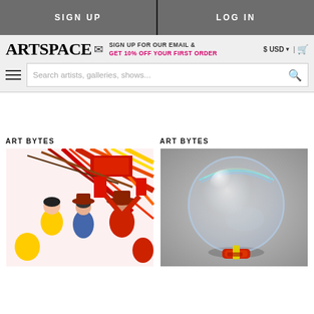SIGN UP | LOG IN
ARTSPACE
SIGN UP FOR OUR EMAIL & GET 10% OFF YOUR FIRST ORDER
$ USD | cart
Search artists, galleries, shows...
ART BYTES
[Figure (photo): Colorful illustration of figures with red flags and cowboy hats]
ART BYTES
[Figure (photo): A large soap bubble on a red base against a grey background]